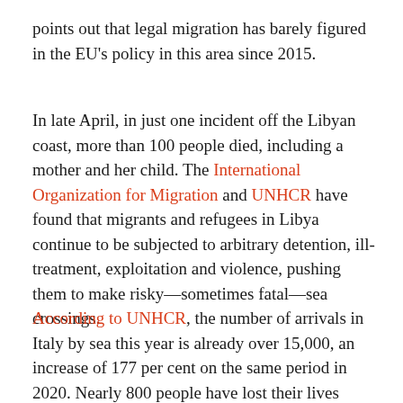points out that legal migration has barely figured in the EU's policy in this area since 2015.
In late April, in just one incident off the Libyan coast, more than 100 people died, including a mother and her child. The International Organization for Migration and UNHCR have found that migrants and refugees in Libya continue to be subjected to arbitrary detention, ill-treatment, exploitation and violence, pushing them to make risky—sometimes fatal—sea crossings.
According to UNHCR, the number of arrivals in Italy by sea this year is already over 15,000, an increase of 177 per cent on the same period in 2020. Nearly 800 people have lost their lives trying to cross the